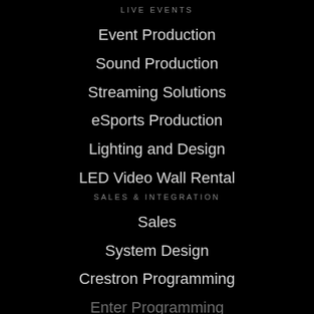LIVE EVENTS
Event Production
Sound Production
Streaming Solutions
eSports Production
Lighting and Design
LED Video Wall Rental
SALES & INTEGRATION
Sales
System Design
Crestron Programming
Enter Programming